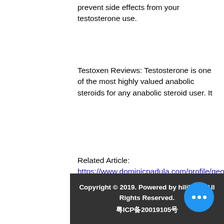prevent side effects from your testosterone use.
Testoxen Reviews: Testosterone is one of the most highly valued anabolic steroids for any anabolic steroid user. It
Related Article:
https://www.dominicpadula.com/profile/georgiannkosinar27176/profile
https://www.greycloudislandtwp-mn.us/profile/kermitraybuck43496/profile
https://mr.godsoninfotech.com/profile/danielrothmann136185/profile
https://www.brendastlouis.com/profile/lesholaday101834/profile
Copyright © 2019. Powered by hiliDAC. All Rights Reserved.
粤ICP备20019105号